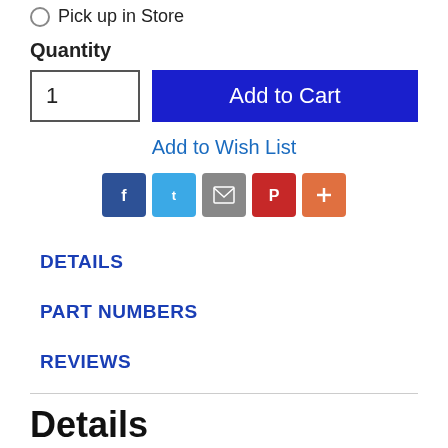Pick up in Store
Quantity
1
Add to Cart
Add to Wish List
[Figure (infographic): Row of social share icons: Facebook (dark blue), Twitter (light blue), Email (gray), Pinterest (red), More/Plus (orange)]
DETAILS
PART NUMBERS
REVIEWS
Details
The GRANIT CityChain XPlus by ABUS is the original for maximum theft protection. Your bike has never been this